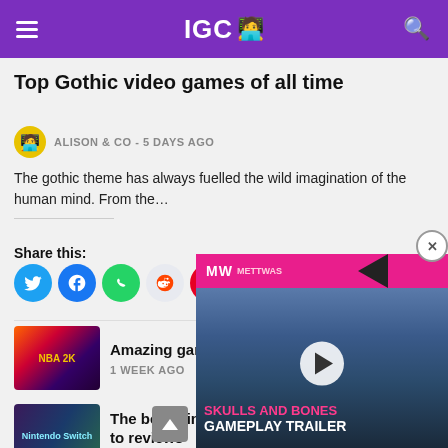IGC
Top Gothic video games of all time
ALISON & CO - 5 DAYS AGO
The gothic theme has always fuelled the wild imagination of the human mind. From the…
Share this:
[Figure (infographic): Share buttons: Twitter, Facebook, WhatsApp, Reddit, Pinterest, Tumblr, LinkedIn, Skype, Email]
[Figure (photo): NBA 2K game cover thumbnail]
Amazing games com…
1 WEEK AGO
[Figure (photo): Nintendo Switch game screenshot thumbnail]
The best Nintendo Sw… to reviews
2 WEEKS AGO
[Figure (photo): Greek mythology game thumbnail]
A selection of the best games with lore based in Greek mythology
[Figure (screenshot): Skulls and Bones Gameplay Trailer video overlay with play button]